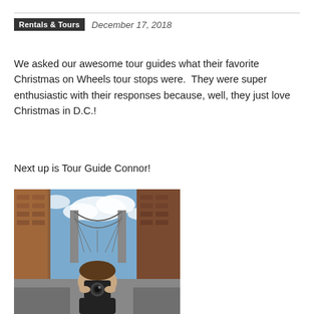Rentals & Tours   December 17, 2018
We asked our awesome tour guides what their favorite Christmas on Wheels tour stops were.  They were super enthusiastic with their responses because, well, they just love Christmas in D.C.!
Next up is Tour Guide Connor!
[Figure (photo): A person holding a camera up to their face, photographing the viewer. Behind them is a large suspension bridge (Manhattan Bridge) visible between two brick buildings, under a blue sky with clouds.]